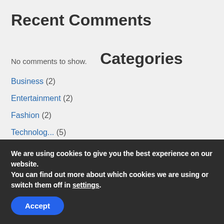Recent Comments
No comments to show.
Categories
Business (2)
Entertainment (2)
Fashion (2)
We are using cookies to give you the best experience on our website.
You can find out more about which cookies we are using or switch them off in settings.
Accept